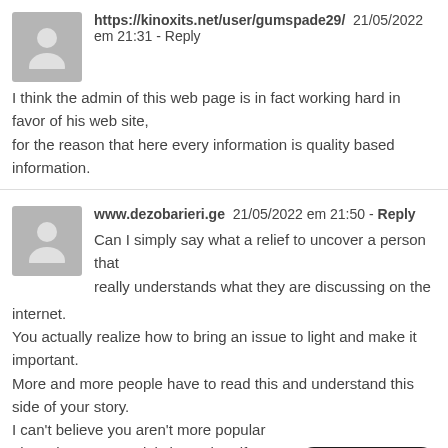https://kinoxits.net/user/gumspade29/  21/05/2022 em 21:31 - Reply
I think the admin of this web page is in fact working hard in favor of his web site,
for the reason that here every information is quality based information.
www.dezobarieri.ge  21/05/2022 em 21:50 - Reply
Can I simply say what a relief to uncover a person that really understands what they are discussing on the internet.
You actually realize how to bring an issue to light and make it important.
More and more people have to read this and understand this side of your story.
I can't believe you aren't more popular
given that you certainly have the gift.
http://soal-jawab.com/index.php?